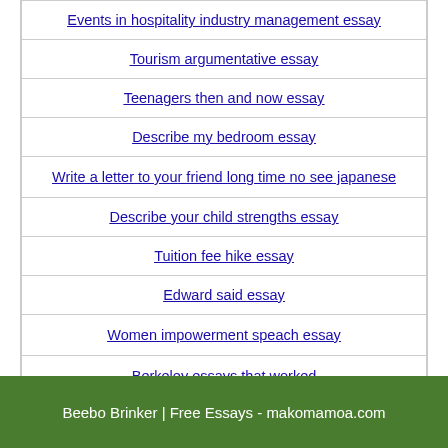Events in hospitality industry management essay
Tourism argumentative essay
Teenagers then and now essay
Describe my bedroom essay
Write a letter to your friend long time no see japanese
Describe your child strengths essay
Tuition fee hike essay
Edward said essay
Women impowerment speach essay
Berkeley essays that worked
Beebo Brinker | Free Essays - makomamoa.com